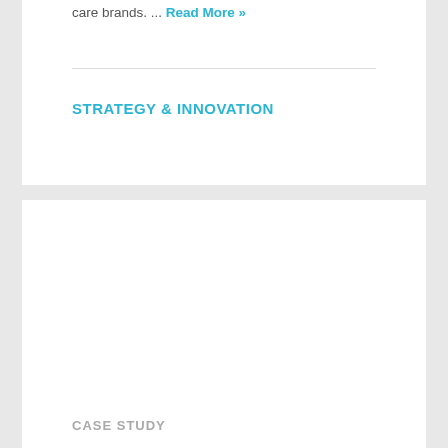care brands. ... Read More »
STRATEGY & INNOVATION
CASE STUDY
HealthFACTR: From Reactive to Predictive, a Digital Model to Determine Risk
[Figure (photo): Photo of human legs from knees down, suggesting health/medical context]